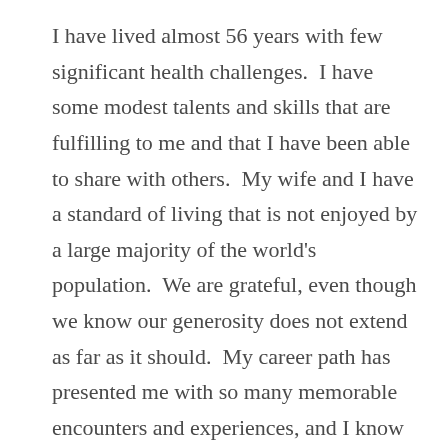I have lived almost 56 years with few significant health challenges.  I have some modest talents and skills that are fulfilling to me and that I have been able to share with others.  My wife and I have a standard of living that is not enjoyed by a large majority of the world's population.  We are grateful, even though we know our generosity does not extend as far as it should.  My career path has presented me with so many memorable encounters and experiences, and I know how rare that privilege is.  Lastly, we have the resources that make it possible for me to rent a cabin in the Appalachian Mountains to be self-indulgent for a weekend and to contemplate the precious gift of a good life that I'm sure I don't deserve but for which I am eternally grateful.  And to my bride, the love of my life: thank